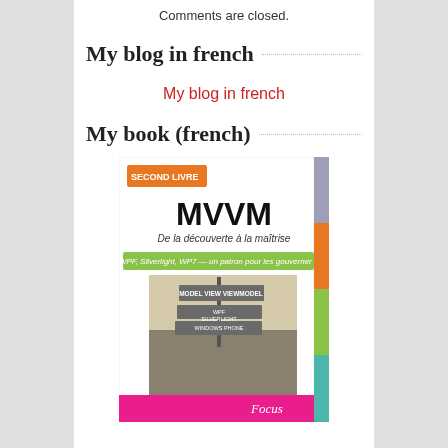Comments are closed.
My blog in french
My blog in french
My book (french)
[Figure (photo): Book cover for MVVM - De la découverte à la maîtrise, showing a road sign image and Focus publisher branding with colored spine]